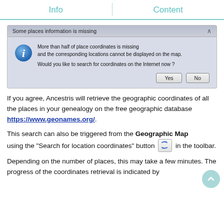Info | Content
[Figure (screenshot): Dialog box titled 'Some places information is missing' with an info icon, message about missing coordinates, and Yes/No buttons]
If you agree, Ancestris will retrieve the geographic coordinates of all the places in your genealogy on the free geographic database https://www.geonames.org/.
This search can also be triggered from the Geographic Map using the "Search for location coordinates" button [icon] in the toolbar.
Depending on the number of places, this may take a few minutes. The progress of the coordinates retrieval is indicated by